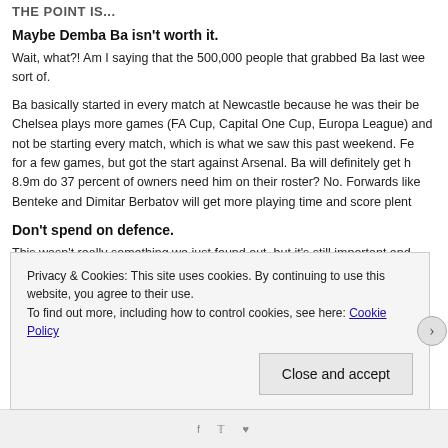Maybe Demba Ba isn't worth it.
Wait, what?! Am I saying that the 500,000 people that grabbed Ba last week were wrong? sort of.
Ba basically started in every match at Newcastle because he was their best player. Chelsea plays more games (FA Cup, Capital One Cup, Europa League) and Ba will not be starting every match, which is what we saw this past weekend. Fernando Torres sat for a few games, but got the start against Arsenal. Ba will definitely get h... 8.9m do 37 percent of owners need him on their roster? No. Forwards like... Benteke and Dimitar Berbatov will get more playing time and score plent...
Don't spend on defence.
This wasn't really something we just found out, but it's still important and...
Privacy & Cookies: This site uses cookies. By continuing to use this website, you agree to their use. To find out more, including how to control cookies, see here: Cookie Policy